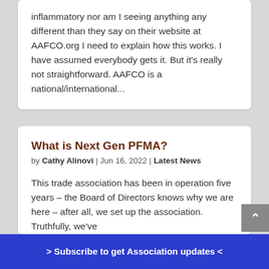inflammatory nor am I seeing anything any different than they say on their website at AAFCO.org I need to explain how this works. I have assumed everybody gets it. But it's really not straightforward. AAFCO is a national/international...
What is Next Gen PFMA?
by Cathy Alinovi | Jun 16, 2022 | Latest News
This trade association has been in operation five years – the Board of Directors knows why we are here – after all, we set up the association. Truthfully, we've
> Subscribe to get Association updates <